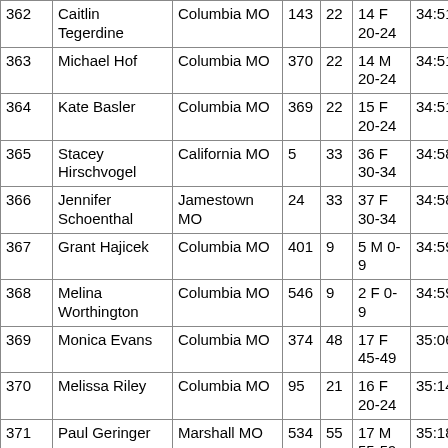| # | Name | City | Bib | Age | Category | Time |
| --- | --- | --- | --- | --- | --- | --- |
| 362 | Caitlin Tegerdine | Columbia MO | 143 | 22 | 14 F 20-24 | 34:51.5 |
| 363 | Michael Hof | Columbia MO | 370 | 22 | 14 M 20-24 | 34:51.7 |
| 364 | Kate Basler | Columbia MO | 369 | 22 | 15 F 20-24 | 34:51.9 |
| 365 | Stacey Hirschvogel | California MO | 5 | 33 | 36 F 30-34 | 34:58.6 |
| 366 | Jennifer Schoenthal | Jamestown MO | 24 | 33 | 37 F 30-34 | 34:58.7 |
| 367 | Grant Hajicek | Columbia MO | 401 | 9 | 5 M 0-9 | 34:59.1 |
| 368 | Melina Worthington | Columbia MO | 546 | 9 | 2 F 0-9 | 34:59.3 |
| 369 | Monica Evans | Columbia MO | 374 | 48 | 17 F 45-49 | 35:06.8 |
| 370 | Melissa Riley | Columbia MO | 95 | 21 | 16 F 20-24 | 35:14.4 |
| 371 | Paul Geringer | Marshall MO | 534 | 55 | 17 M 55-59 | 35:18.2 |
| 372 | Toby Scheidt | Columbia MO | 125 | 7 | 6 M 0-9 | 35:21.9 |
| 373 | Chris Creasy | Columbia MO | 412 | 47 | 18 F 45-49 | 35:24.9 |